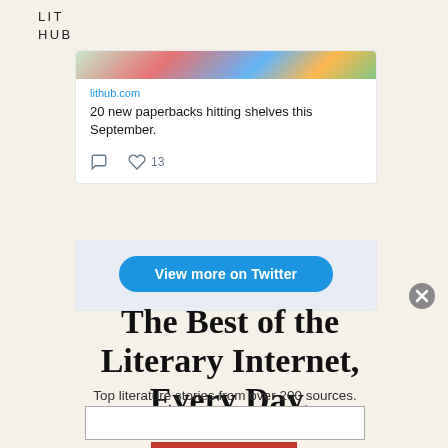LIT
HUB
[Figure (screenshot): Twitter/social media card showing a lithub.com link preview with image strip at top, link text 'lithub.com', title '20 new paperbacks hitting shelves this September.', comment icon, heart icon with count 13]
[Figure (screenshot): Blue 'View more on Twitter' button in a light blue-grey panel]
[Figure (other): Grey circular close/X button]
The Best of the Literary Internet, Every Day.
Top literature stories from over 200 sources.
[Figure (other): White email input field with red SUBSCRIBE button below]